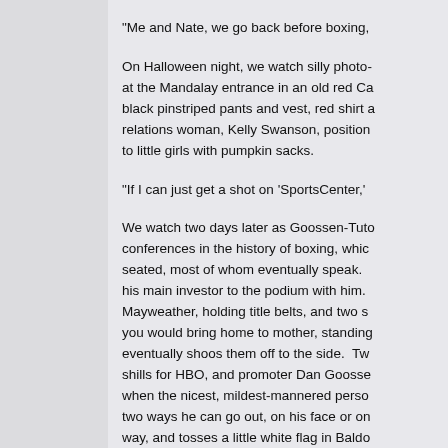"Me and Nate, we go back before boxing,
On Halloween night, we watch silly photo- at the Mandalay entrance in an old red Ca black pinstriped pants and vest, red shirt a relations woman, Kelly Swanson, position to little girls with pumpkin sacks.
"If I can just get a shot on 'SportsCenter,'
We watch two days later as Goossen-Tuto conferences in the history of boxing, whic seated, most of whom eventually speak. his main investor to the podium with him. Mayweather, holding title belts, and two s you would bring home to mother, standing eventually shoos them off to the side. Tw shills for HBO, and promoter Dan Goosse when the nicest, mildest-mannered perso two ways he can go out, on his face or on way, and tosses a little white flag in Baldo Ellerbe, and Mayweather throws water on
You watch, giggle and marvel that boxing imploding by its own hands while the guy